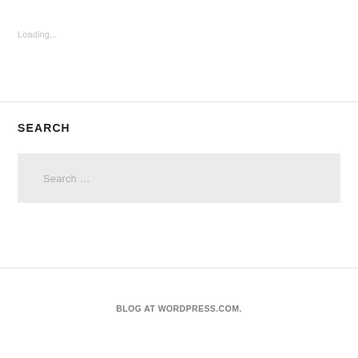Loading...
SEARCH
Search …
BLOG AT WORDPRESS.COM.